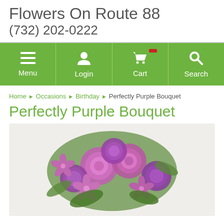Flowers On Route 88
(732) 202-0222
[Figure (screenshot): Navigation bar with green background showing Menu, Login, Cart, and Search icons in white]
Home › Occasions › Birthday › Perfectly Purple Bouquet
Perfectly Purple Bouquet
[Figure (photo): Photo of a purple flower bouquet with roses, carnations, and alstroemeria]